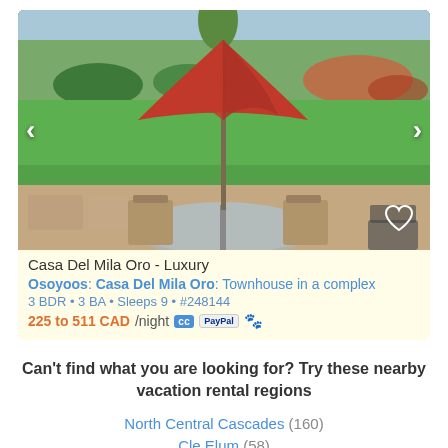[Figure (photo): Outdoor patio scene with a glass table, chairs, a red patio umbrella, green lawn, trees, and a water view in the background. Navigation arrows on left and right. Heart icon in bottom-right corner.]
Casa Del Mila Oro - Luxury
Osoyoos: Casa Del Mila Oro: Townhouse in a complex
3 BDR • 3 BA • Sleeps 9 • #248144
225 to 511 CAD/night [CC] [PayPal] 🐾
Can't find what you are looking for? Try these nearby vacation rental regions
North Central Cascades (160)
Cle Elum (58)
Easton (1)